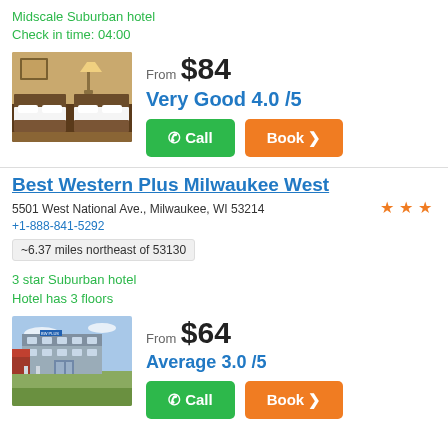Midscale Suburban hotel
Check in time: 04:00
[Figure (photo): Hotel room interior with two beds, warm lighting, and brown/white bedding]
From $84
Very Good 4.0 /5
Call
Book >
Best Western Plus Milwaukee West
5501 West National Ave., Milwaukee, WI 53214
+1-888-841-5292
~6.37 miles northeast of 53130
3 star Suburban hotel
Hotel has 3 floors
[Figure (photo): Exterior photo of Best Western Plus Milwaukee West hotel building]
From $64
Average 3.0 /5
Call
Book >